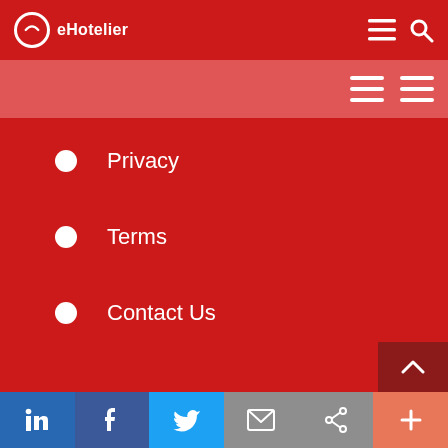eHotelier
Privacy
Terms
Contact Us
Social share bar: LinkedIn, Facebook, Twitter, Email, Share, More